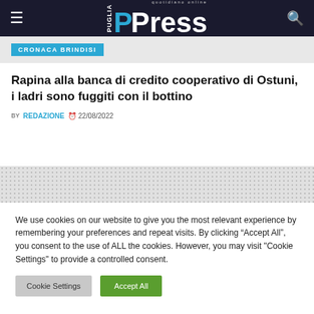PPress - Puglia quotidiano online
CRONACA BRINDISI
Rapina alla banca di credito cooperativo di Ostuni, i ladri sono fuggiti con il bottino
BY REDAZIONE  22/08/2022
We use cookies on our website to give you the most relevant experience by remembering your preferences and repeat visits. By clicking “Accept All”, you consent to the use of ALL the cookies. However, you may visit "Cookie Settings" to provide a controlled consent.